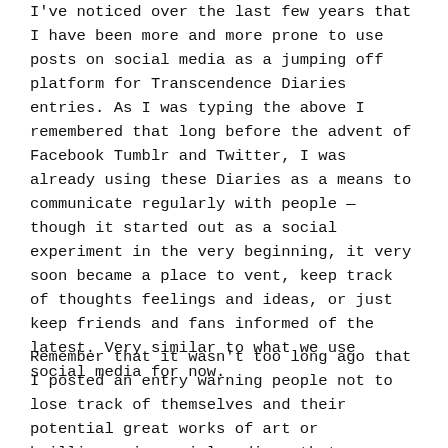I've noticed over the last few years that I have been more and more prone to use posts on social media as a jumping off platform for Transcendence Diaries entries. As I was typing the above I remembered that long before the advent of Facebook Tumblr and Twitter, I was already using these Diaries as a means to communicate regularly with people — though it started out as a social experiment in the very beginning, it very soon became a place to vent, keep track of thoughts feelings and ideas, or just keep friends and fans informed of the latest. Very similar to what we use social media for now.
Remember that it wasn't too long ago that I posted an entry warning people not to lose track of themselves and their potential great works of art or brilliance in social media — that